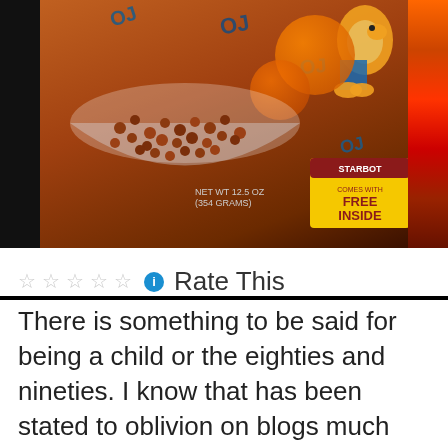[Figure (photo): Photo of a cereal box featuring orange-colored cereal balls in a bowl, cartoon character, OJ labels, Starbot Free Inside badge, and net weight text. Dark background with colorful right strip.]
☆☆☆☆☆ ℹ Rate This
There is something to be said for being a child or the eighties and nineties. I know that has been stated to oblivion on blogs much like this one, but it's true. It's as if